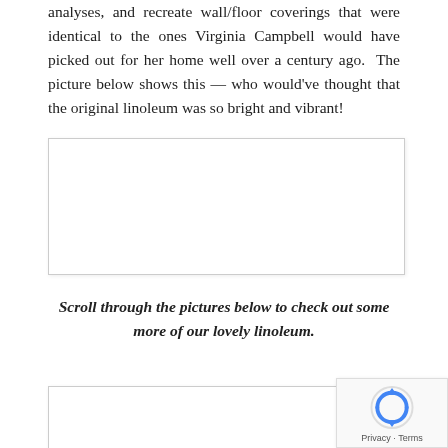analyses, and recreate wall/floor coverings that were identical to the ones Virginia Campbell would have picked out for her home well over a century ago.  The picture below shows this — who would've thought that the original linoleum was so bright and vibrant!
[Figure (photo): Photo of recreated wall/floor coverings (linoleum) in the historic home, shown in a white bordered box.]
Scroll through the pictures below to check out some more of our lovely linoleum.
[Figure (photo): Additional photo of linoleum, partially visible at bottom of page.]